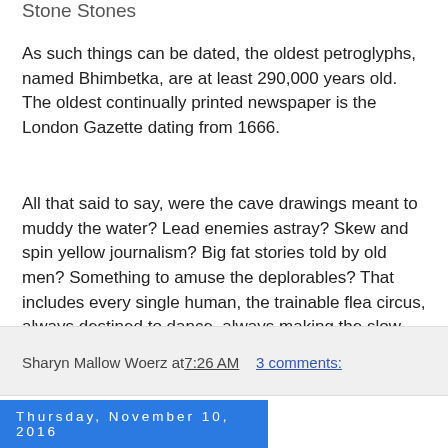Stone Stones
As such things can be dated, the oldest petroglyphs, named Bhimbetka, are at least 290,000 years old.  The oldest continually printed newspaper is the London Gazette dating from 1666.
All that said to say, were the cave drawings meant to muddy the water? Lead enemies astray? Skew and spin yellow journalism? Big fat stories told by old men? Something to amuse the deplorables? That includes every single human, the trainable flea circus, always destined to dance, always making the slow trajectory to dust.
"The doctors huddle up and then call in a flea flicker." ~ Duran Duran  911 Is A Joke
Sharyn Mallow Woerz at 7:26 AM    3 comments:
Thursday, November 10, 2016